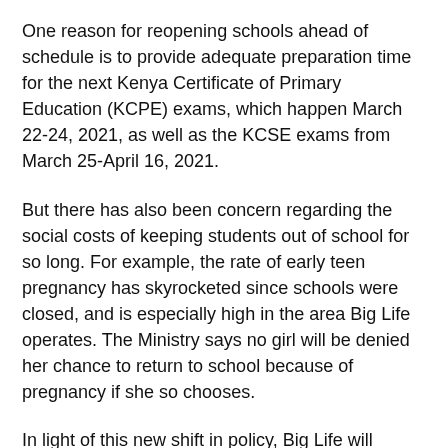One reason for reopening schools ahead of schedule is to provide adequate preparation time for the next Kenya Certificate of Primary Education (KCPE) exams, which happen March 22-24, 2021, as well as the KCSE exams from March 25-April 16, 2021.
But there has also been concern regarding the social costs of keeping students out of school for so long. For example, the rate of early teen pregnancy has skyrocketed since schools were closed, and is especially high in the area Big Life operates. The Ministry says no girl will be denied her chance to return to school because of pregnancy if she so chooses.
In light of this new shift in policy, Big Life will resume covering the scholarship fees for the students who were already actively sponsored. Big Life has already provided these sponsored stude[Cookie policy] face masks, and the girls were also